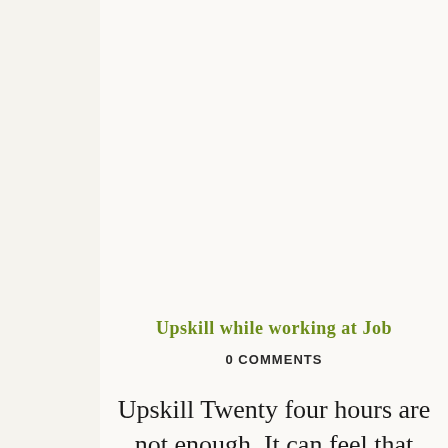Upskill while working at Job
0 COMMENTS
Upskill Twenty four hours are not enough. It can feel that way